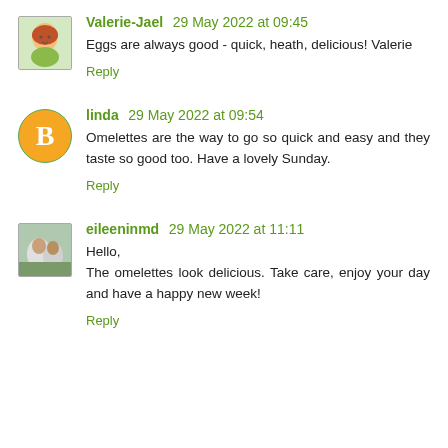Valerie-Jael 29 May 2022 at 09:45
Eggs are always good - quick, heath, delicious! Valerie
Reply
linda 29 May 2022 at 09:54
Omelettes are the way to go so quick and easy and they taste so good too. Have a lovely Sunday.
Reply
eileeninmd 29 May 2022 at 11:11
Hello,
The omelettes look delicious. Take care, enjoy your day and have a happy new week!
Reply